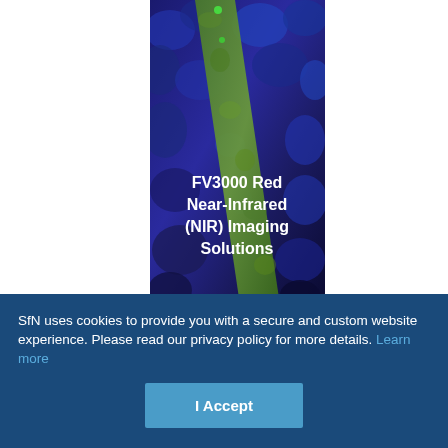[Figure (photo): Aerial/microscopy image with blue and green tones showing a forest or biological tissue with a diagonal green path/vessel running through blue-toned surrounding area. Overlaid white bold text reads: FV3000 Red Near-Infrared (NIR) Imaging Solutions]
SfN uses cookies to provide you with a secure and custom website experience. Please read our privacy policy for more details. Learn more